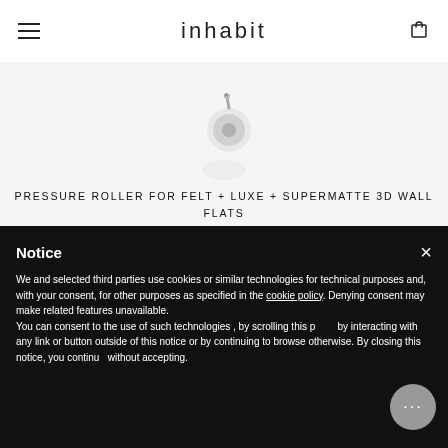inhabit
[Figure (photo): Partial product image of a pressure roller tool on white background]
PRESSURE ROLLER FOR FELT + LUXE + SUPERMATTE 3D WALL FLATS
$18
Notice
We and selected third parties use cookies or similar technologies for technical purposes and, with your consent, for other purposes as specified in the cookie policy. Denying consent may make related features unavailable.
You can consent to the use of such technologies , by scrolling this page, by interacting with any link or button outside of this notice or by continuing to browse otherwise. By closing this notice, you continue without accepting.